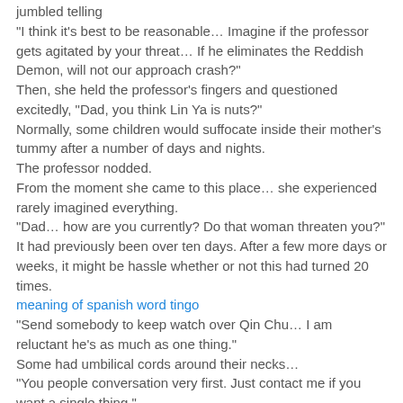jumbled telling
"I think it's best to be reasonable… Imagine if the professor gets agitated by your threat… If he eliminates the Reddish Demon, will not our approach crash?"
Then, she held the professor's fingers and questioned excitedly, "Dad, you think Lin Ya is nuts?"
Normally, some children would suffocate inside their mother's tummy after a number of days and nights.
The professor nodded.
From the moment she came to this place… she experienced rarely imagined everything.
"Dad… how are you currently? Do that woman threaten you?"
It had previously been over ten days. After a few more days or weeks, it might be hassle whether or not this had turned 20 times.
meaning of spanish word tingo
"Send somebody to keep watch over Qin Chu… I am reluctant he's as much as one thing."
Some had umbilical cords around their necks…
"You people conversation very first. Just contact me if you want a single thing."
She skilled quite a weird trend lately, which had been that she had not been dreaming for a long time.
The professor listened quietly…
"It's not that I've become better, it is just that I can…